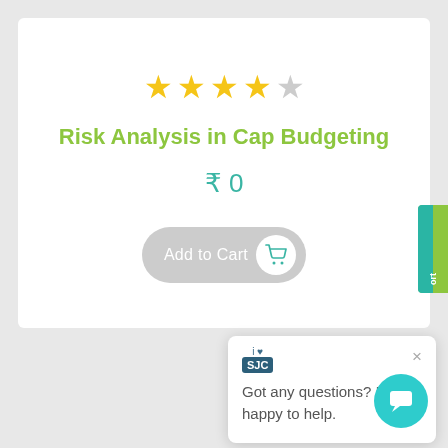[Figure (screenshot): Star rating showing 4 out of 5 stars (4 filled yellow stars and 1 empty grey star)]
Risk Analysis in Cap Budgeting
₹ 0
[Figure (screenshot): Add to Cart button with shopping cart icon]
[Figure (screenshot): Chat popup with SJC logo showing message: Got any questions? I'm happy to help.]
[Figure (screenshot): Teal circular chat button at bottom right]